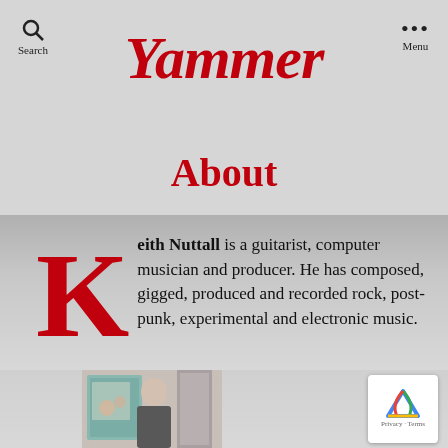Yammer
About
Keith Nuttall is a guitarist, computer musician and producer. He has composed, gigged, produced and recorded rock, post-punk, experimental and electronic music.
[Figure (photo): Photo of Keith Nuttall standing in front of artwork/paintings on a wall]